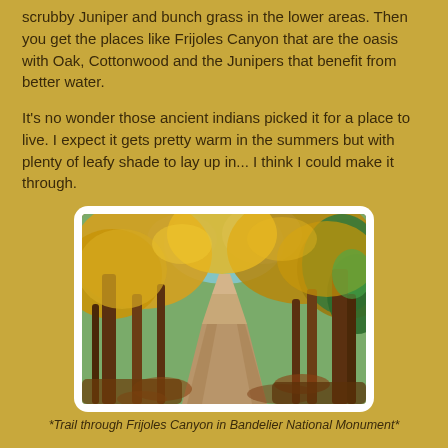scrubby Juniper and bunch grass in the lower areas. Then you get the places like Frijoles Canyon that are the oasis with Oak, Cottonwood and the Junipers that benefit from better water.
It's no wonder those ancient indians picked it for a place to live. I expect it gets pretty warm in the summers but with plenty of leafy shade to lay up in... I think I could make it through.
[Figure (photo): Trail through Frijoles Canyon in Bandelier National Monument — a sunlit path flanked by autumn-colored cottonwood and oak trees with golden and green foliage.]
*Trail through Frijoles Canyon in Bandelier National Monument*